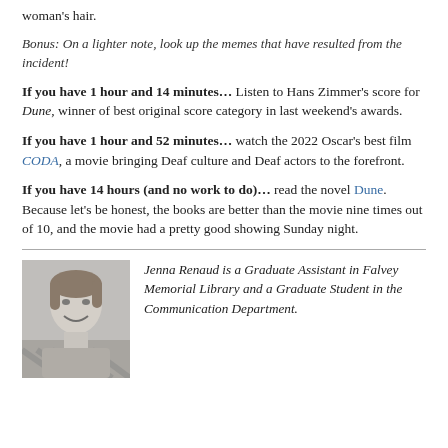woman's hair.
Bonus: On a lighter note, look up the memes that have resulted from the incident!
If you have 1 hour and 14 minutes… Listen to Hans Zimmer's score for Dune, winner of best original score category in last weekend's awards.
If you have 1 hour and 52 minutes… watch the 2022 Oscar's best film CODA, a movie bringing Deaf culture and Deaf actors to the forefront.
If you have 14 hours (and no work to do)… read the novel Dune. Because let's be honest, the books are better than the movie nine times out of 10, and the movie had a pretty good showing Sunday night.
[Figure (photo): Black and white photo of Jenna Renaud, a young woman smiling]
Jenna Renaud is a Graduate Assistant in Falvey Memorial Library and a Graduate Student in the Communication Department.